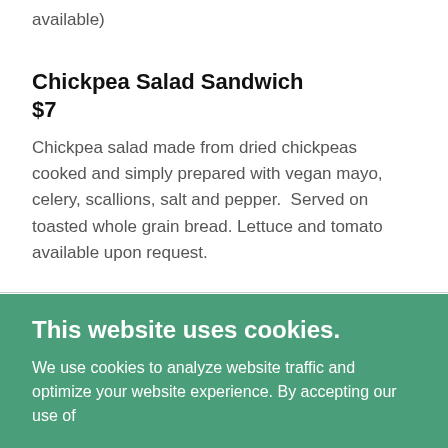available)
Chickpea Salad Sandwich
$7
Chickpea salad made from dried chickpeas cooked and simply prepared with vegan mayo, celery, scallions, salt and pepper.  Served on toasted whole grain bread. Lettuce and tomato available upon request.
This website uses cookies.
We use cookies to analyze website traffic and optimize your website experience. By accepting our use of